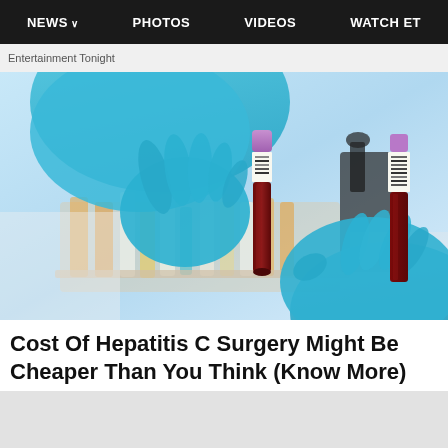NEWS  PHOTOS  VIDEOS  WATCH ET
Entertainment Tonight
[Figure (photo): Two gloved hands in blue latex gloves holding blood sample vials in a laboratory setting, with various test tubes and laboratory equipment in the background.]
Cost Of Hepatitis C Surgery Might Be Cheaper Than You Think (Know More)